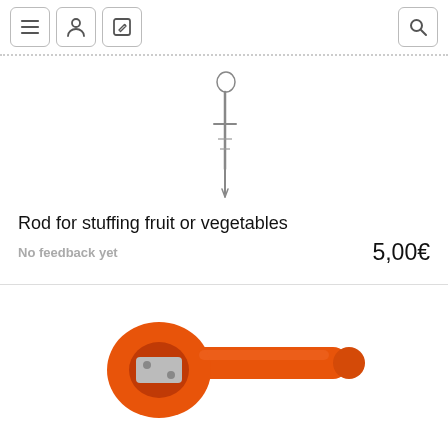Navigation header with menu, account, edit, and search icons
[Figure (photo): A metal rod/skewer tool for stuffing fruit or vegetables, shown vertically on white background]
Rod for stuffing fruit or vegetables
No feedback yet   5,00€
[Figure (photo): An orange plastic tool resembling a pencil sharpener shape with a handle, used as a kitchen gadget]